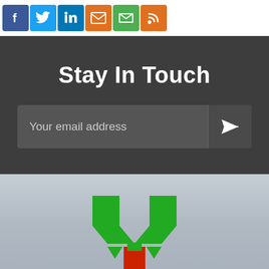[Figure (screenshot): Top white bar with social media icons: Facebook (blue), Twitter (light blue), LinkedIn (blue), email/envelope (orange), green icon, and RSS/orange icon]
Stay In Touch
[Figure (screenshot): Email input field with placeholder 'Your email address' and a send button with paper airplane icon]
[Figure (logo): Gray sky background with a green and red logo at the bottom — appears to be a stylized plant/tulip logo with green arrow shapes pointing down and a red center element]